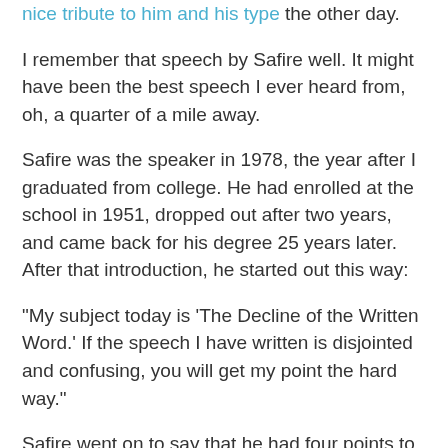nice tribute to him and his type the other day.
I remember that speech by Safire well. It might have been the best speech I ever heard from, oh, a quarter of a mile away.
Safire was the speaker in 1978, the year after I graduated from college. He had enrolled at the school in 1951, dropped out after two years, and came back for his degree 25 years later. After that introduction, he started out this way:
"My subject today is 'The Decline of the Written Word.' If the speech I have written is disjointed and confusing, you will get my point the hard way."
Safire went on to say that he had four points to make on the subject. He cleverly said he had forgotten the fourth point, but could simply go back to his text and make it three points -- the advantages of editing the printed work are many. Then he artfully came back to a so-called fourth point.
I saved a copy of the speech from the Syracuse Post-